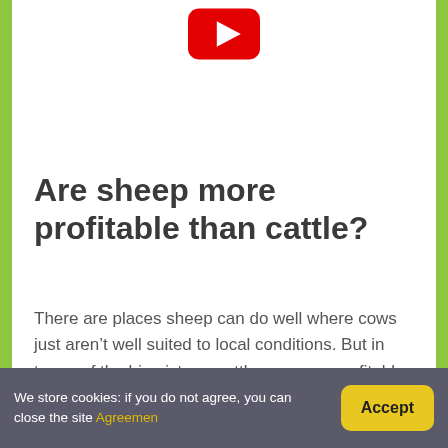[Figure (logo): YouTube play button icon — red rounded rectangle with white triangle pointing right]
Are sheep more profitable than cattle?
There are places sheep can do well where cows just aren't well suited to local conditions. But in terms of the big picture, cattle are more profitable than sheep, on average, world wide, which is why there are more cows and fewer sheep.
We store cookies: if you do not agree, you can close the site Agreemen